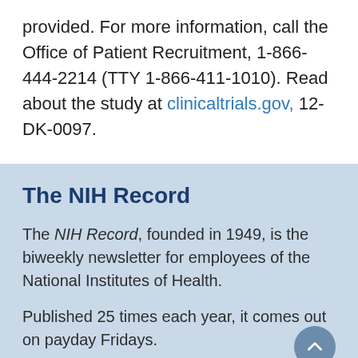provided. For more information, call the Office of Patient Recruitment, 1-866-444-2214 (TTY 1-866-411-1010). Read about the study at clinicaltrials.gov, 12-DK-0097.
The NIH Record
The NIH Record, founded in 1949, is the biweekly newsletter for employees of the National Institutes of Health.
Published 25 times each year, it comes out on payday Fridays.
Editor: Carla Garnett
Carla.Garnett@nih.gov